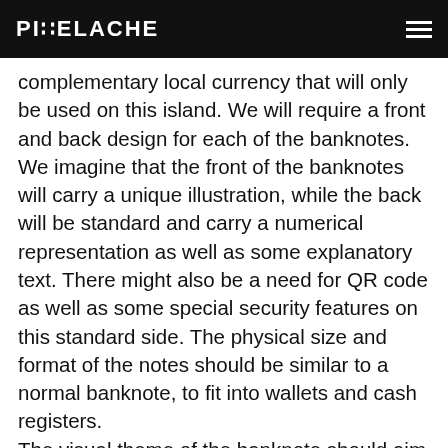PIXELACHE
complementary local currency that will only be used on this island. We will require a front and back design for each of the banknotes. We imagine that the front of the banknotes will carry a unique illustration, while the back will be standard and carry a numerical representation as well as some explanatory text. There might also be a need for QR code as well as some special security features on this standard side. The physical size and format of the notes should be similar to a normal banknote, to fit into wallets and cash registers. The visual theme of the banknote should aim to capture the identity of the island as 'Living Heritage', which represents the life of people on the island, shaped by the physical and social environment as well as its history. We are looking for a contemporary re-